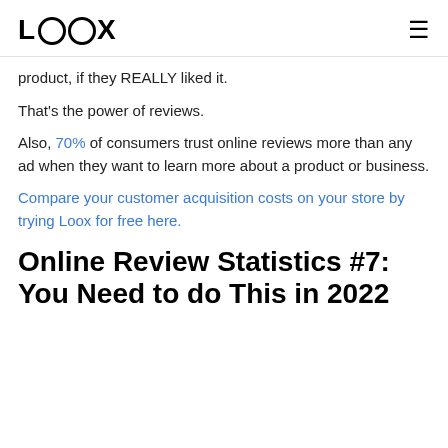LOOX
product, if they REALLY liked it.
That's the power of reviews.
Also, 70% of consumers trust online reviews more than any ad when they want to learn more about a product or business.
Compare your customer acquisition costs on your store by trying Loox for free here.
Online Review Statistics #7: You Need to do This in 2022